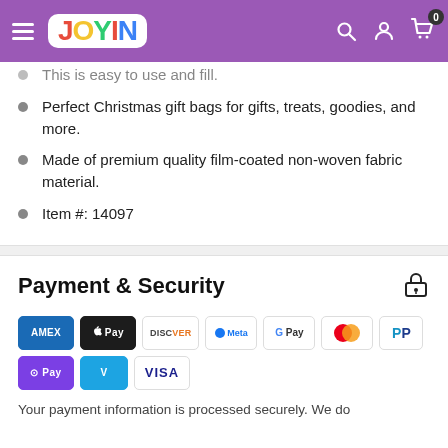Joyin website header with logo and navigation icons
This is easy to use and fill.
Perfect Christmas gift bags for gifts, treats, goodies, and more.
Made of premium quality film-coated non-woven fabric material.
Item #: 14097
Payment & Security
[Figure (other): Payment method logos: American Express, Apple Pay, Discover, Meta Pay, Google Pay, Mastercard, PayPal, OPay, Venmo, Visa]
Your payment information is processed securely. We do